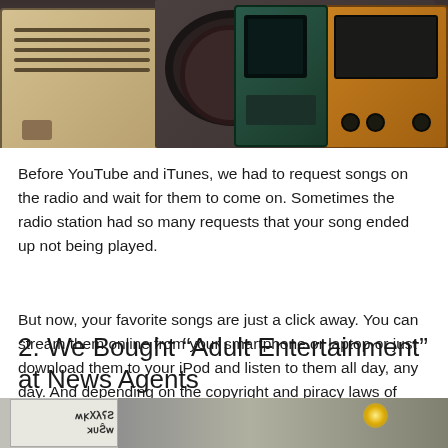[Figure (photo): Top image showing a collection of vintage radio units of various colors and styles arranged together, including cream/beige, dark, orange/yellow, and green-teal colored radios.]
Before YouTube and iTunes, we had to request songs on the radio and wait for them to come on. Sometimes the radio station had so many requests that your song ended up not being played.
But now, your favorite songs are just a click away. You can stream them online from your smartphone or laptop or just download them to your iPod and listen to them all day, any day. And depending on the copyright and piracy laws of where you are from, you can even download the songs for free.
2. We Bought “Adult Entertainment” at News Agents
[Figure (photo): Bottom partial image showing what appears to be a shop interior with a mirrored/reversed sign reading 'WAKERS TRUE' and some hanging lights visible.]